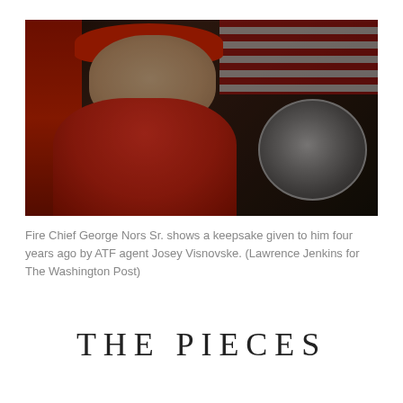[Figure (photo): Fire Chief George Nors Sr. holding up a coin/medallion keepsake given to him by ATF agent Josey Visnovske. He is wearing a red t-shirt and red cap, standing in front of a fire truck with an American flag visible in the background.]
Fire Chief George Nors Sr. shows a keepsake given to him four years ago by ATF agent Josey Visnovske. (Lawrence Jenkins for The Washington Post)
THE PIECES